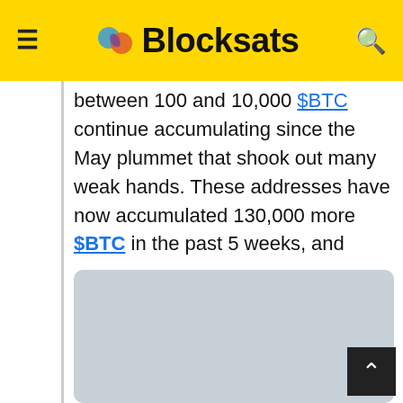Blocksats
between 100 and 10,000 $BTC continue accumulating since the May plummet that shook out many weak hands. These addresses have now accumulated 130,000 more $BTC in the past 5 weeks, and 40,000 more in just the past 10 days. 📈 app.santiment.net/s/HFN7Ns4y?utm…
[Figure (photo): Gray placeholder image area for embedded content]